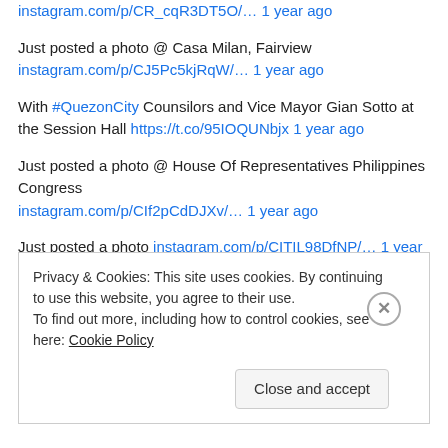instagram.com/p/CR_cqR3DT5O/… 1 year ago (link, cut off at top)
Just posted a photo @ Casa Milan, Fairview
instagram.com/p/CJ5Pc5kjRqW/… 1 year ago
With #QuezonCity Counsilors and Vice Mayor Gian Sotto at the Session Hall https://t.co/95IOQUNbjx 1 year ago
Just posted a photo @ House Of Representatives Philippines Congress
instagram.com/p/CIf2pCdDJXv/… 1 year ago
Just posted a photo instagram.com/p/CITIL98DfNP/… 1 year ago
please support me as I represent our beloved country 🇵🇭 👑 Here's the link, just find - 16th STAR VILLANUEVA... twitter.com/i/web/status/1...
Privacy & Cookies: This site uses cookies. By continuing to use this website, you agree to their use.
To find out more, including how to control cookies, see here: Cookie Policy
Close and accept